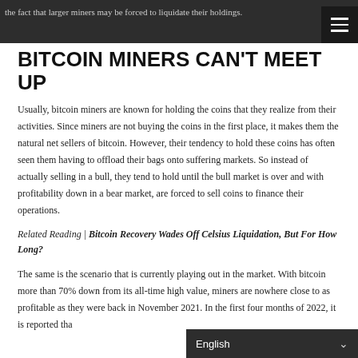the fact that larger miners may be forced to liquidate their holdings.
BITCOIN MINERS CAN'T MEET UP
Usually, bitcoin miners are known for holding the coins that they realize from their activities. Since miners are not buying the coins in the first place, it makes them the natural net sellers of bitcoin. However, their tendency to hold these coins has often seen them having to offload their bags onto suffering markets. So instead of actually selling in a bull, they tend to hold until the bull market is over and with profitability down in a bear market, are forced to sell coins to finance their operations.
Related Reading | Bitcoin Recovery Wades Off Celsius Liquidation, But For How Long?
The same is the scenario that is currently playing out in the market. With bitcoin more than 70% down from its all-time high value, miners are nowhere close to as profitable as they were back in November 2021. In the first four months of 2022, it is reported tha... ve